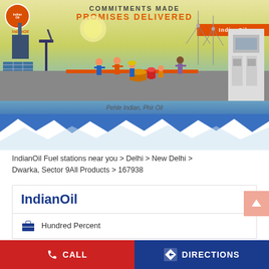[Figure (illustration): IndianOil promotional banner with tagline 'COMMITMENTS MADE PROMISES DELIVERED' showing industrial scene with workers, oil barrels, wind turbines, solar panels, and a fuel station. Bottom text reads 'Pehle Indian, Phir Oil']
IndianOil Fuel stations near you > Delhi > New Delhi > Dwarka, Sector 9All Products > 167938
IndianOil
Hundred Percent
Local Shopping Complex
Dwarka, Sector 9
New Delhi - 110075